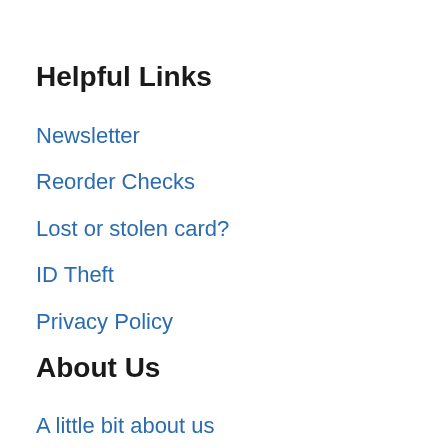Helpful Links
Newsletter
Reorder Checks
Lost or stolen card?
ID Theft
Privacy Policy
About Us
A little bit about us
Office Hours
Board of Directors